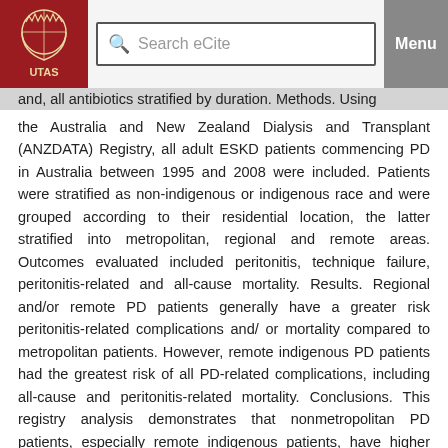UTAS | Search eCite | Menu
...and, all antibiotics stratified by duration. Methods. Using the Australia and New Zealand Dialysis and Transplant (ANZDATA) Registry, all adult ESKD patients commencing PD in Australia between 1995 and 2008 were included. Patients were stratified as non-indigenous or indigenous race and were grouped according to their residential location, the latter stratified into metropolitan, regional and remote areas. Outcomes evaluated included peritonitis, technique failure, peritonitis-related and all-cause mortality. Results. Regional and/or remote PD patients generally have a greater risk peritonitis-related complications and/ or mortality compared to metropolitan patients. However, remote indigenous PD patients had the greatest risk of all PD-related complications, including all-cause and peritonitis-related mortality. Conclusions. This registry analysis demonstrates that nonmetropolitan PD patients, especially remote indigenous patients, have higher complication rates, suggesting that environmental factors are important in determining PD outcomes.
Item Details